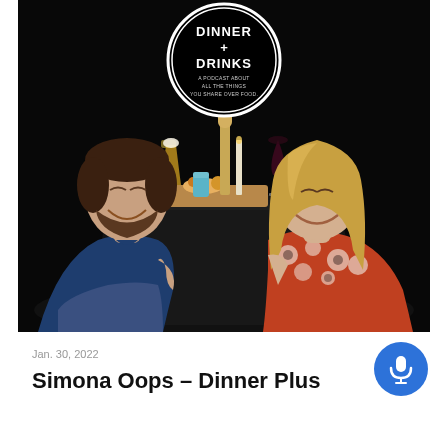[Figure (photo): Podcast promotional photo showing two people sitting at a black-draped table with drinks (beer and wine), food on a board, and a bottle. Black background. Logo circle at top center reads DINNER + DRINKS, A PODCAST ABOUT ALL THE THINGS YOU SHARE OVER FOOD.]
Jan. 30, 2022
Simona Oops – Dinner Plus